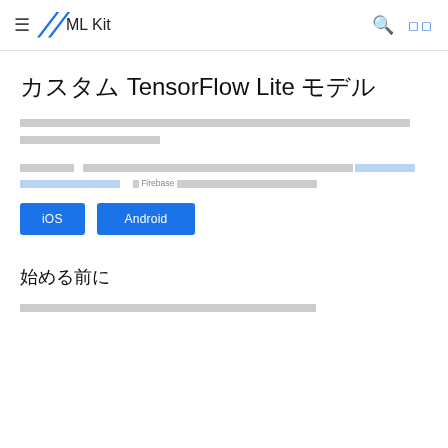≡ ML Kit [search] [grid]
カスタム TensorFlow Lite モデル
[Thai/CJK body text block 1 - description of custom TensorFlow Lite model functionality]
この API を使用するには [link text] ください。Firebase コンソールからモデルをダウンロードします。
iOS  Android
始める前に
[Thai/CJK body text block 2 - prerequisites text]